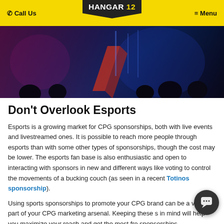Call Us | HANGAR 12 | Menu
[Figure (photo): Esports event venue with players at screens, dark room with colorful lighting and large display screens in background]
Don't Overlook Esports
Esports is a growing market for CPG sponsorships, both with live events and livestreamed ones. It is possible to reach more people through esports than with some other types of sponsorships, though the cost may be lower. The esports fan base is also enthusiastic and open to interacting with sponsors in new and different ways like voting to control the movements of a bucking couch (as seen in a recent Totinos sponsorship).
Using sports sponsorships to promote your CPG brand can be a valuable part of your CPG marketing arsenal. Keeping these s... in mind will help you maximize your reach and get the most fro... sponsorships.